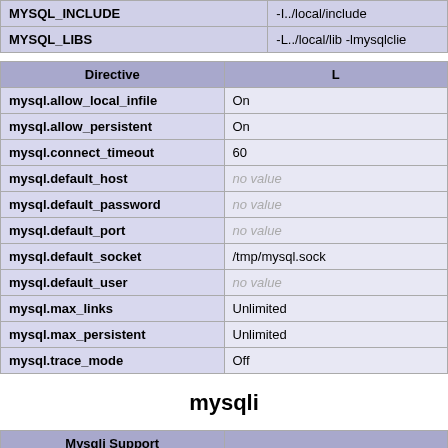|  |  |
| --- | --- |
| MYSQL_INCLUDE | -I../local/include |
| MYSQL_LIBS | -L../local/lib -lmysqlclie... |
| Directive | L |
| --- | --- |
| mysql.allow_local_infile | On |
| mysql.allow_persistent | On |
| mysql.connect_timeout | 60 |
| mysql.default_host | no value |
| mysql.default_password | no value |
| mysql.default_port | no value |
| mysql.default_socket | /tmp/mysql.sock |
| mysql.default_user | no value |
| mysql.max_links | Unlimited |
| mysql.max_persistent | Unlimited |
| mysql.trace_mode | Off |
mysqli
| Mysqli Support |  |
| --- | --- |
| Client API library version | 5.6.45 |
| Active Persistent Links | 0 |